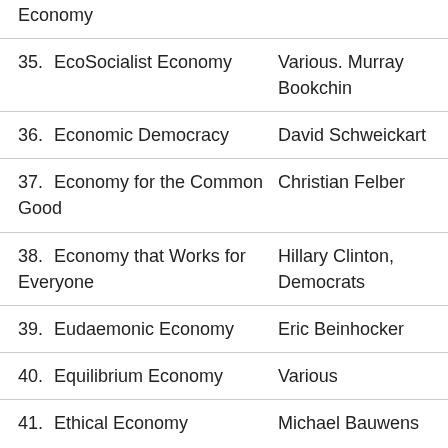Economy
35. EcoSocialist Economy — Various. Murray Bookchin
36. Economic Democracy — David Schweickart
37. Economy for the Common Good — Christian Felber
38. Economy that Works for Everyone — Hillary Clinton, Democrats
39. Eudaemonic Economy — Eric Beinhocker
40. Equilibrium Economy — Various
41. Ethical Economy — Michael Bauwens